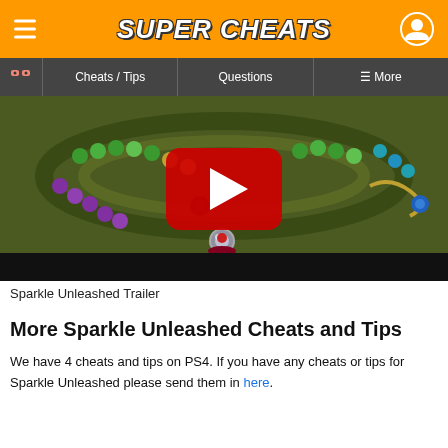Super Cheats
Cheats / Tips | Questions | More
[Figure (screenshot): Sparkle Unleashed gameplay trailer thumbnail with YouTube play button overlay showing colorful marble balls on a green mossy path]
Sparkle Unleashed Trailer
More Sparkle Unleashed Cheats and Tips
We have 4 cheats and tips on PS4. If you have any cheats or tips for Sparkle Unleashed please send them in here.